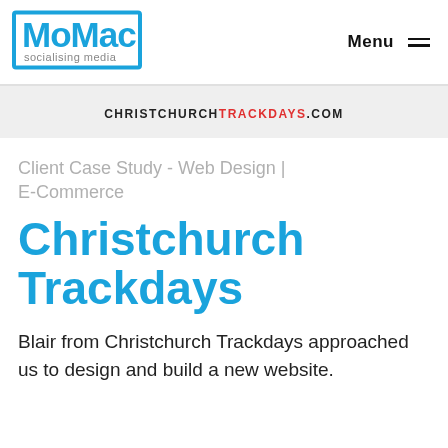MoMac socialising media | Menu
[Figure (logo): MoMac socialising media logo — blue square outline with bold blue MoMac text and grey 'socialising media' tagline]
CHRISTCHURCHTRACKDAYS.COM
Client Case Study - Web Design | E-Commerce
Christchurch Trackdays
Blair from Christchurch Trackdays approached us to design and build a new website.